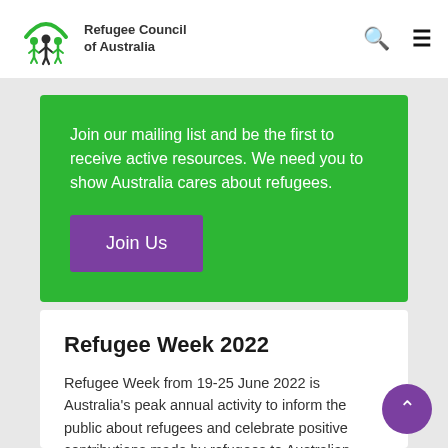Refugee Council of Australia
Join our mailing list and be the first to receive active resources. We need you to show Australia cares about refugees.
Join Us
Refugee Week 2022
Refugee Week from 19-25 June 2022 is Australia's peak annual activity to inform the public about refugees and celebrate positive contributions made by refugees to Australian society.